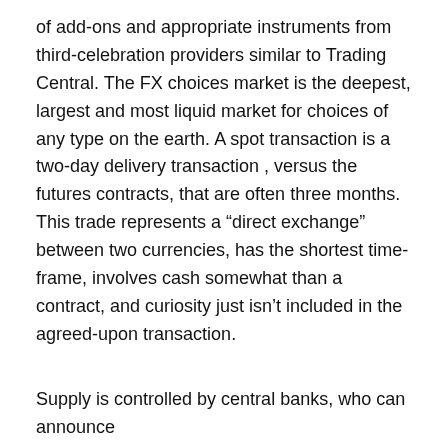of add-ons and appropriate instruments from third-celebration providers similar to Trading Central. The FX choices market is the deepest, largest and most liquid market for choices of any type on the earth. A spot transaction is a two-day delivery transaction , versus the futures contracts, that are often three months. This trade represents a “direct exchange” between two currencies, has the shortest time-frame, involves cash somewhat than a contract, and curiosity just isn’t included in the agreed-upon transaction.
Supply is controlled by central banks, who can announce